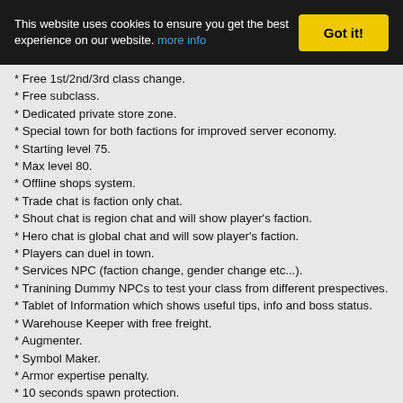This website uses cookies to ensure you get the best experience on our website. more info | Got it!
* Free 1st/2nd/3rd class change.
* Free subclass.
* Dedicated private store zone.
* Special town for both factions for improved server economy.
* Starting level 75.
* Max level 80.
* Offline shops system.
* Trade chat is faction only chat.
* Shout chat is region chat and will show player's faction.
* Hero chat is global chat and will sow player's faction.
* Players can duel in town.
* Services NPC (faction change, gender change etc...).
* Tranining Dummy NPCs to test your class from different prespectives.
* Tablet of Information which shows useful tips, info and boss status.
* Warehouse Keeper with free freight.
* Augmenter.
* Symbol Maker.
* Armor expertise penalty.
* 10 seconds spawn protection.
* Increased weight/inventory/private store slots.
* Players do not lose exp upon death.
* No death panalities.
* ...